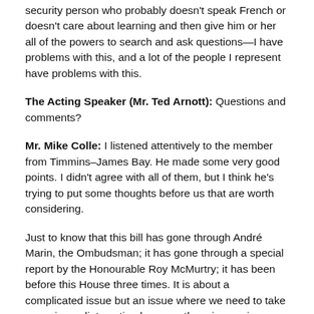security person who probably doesn't speak French or doesn't care about learning and then give him or her all of the powers to search and ask questions—I have problems with this, and a lot of the people I represent have problems with this.
The Acting Speaker (Mr. Ted Arnott): Questions and comments?
Mr. Mike Colle: I listened attentively to the member from Timmins–James Bay. He made some very good points. I didn't agree with all of them, but I think he's trying to put some thoughts before us that are worth considering.
Just to know that this bill has gone through André Marin, the Ombudsman; it has gone through a special report by the Honourable Roy McMurtry; it has been before this House three times. It is about a complicated issue but an issue where we need to take some immediate action because there is a serious concern about security. If you